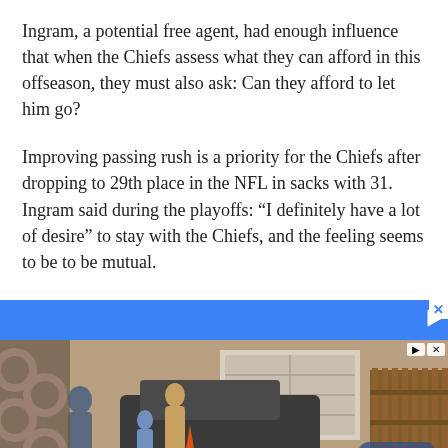Ingram, a potential free agent, had enough influence that when the Chiefs assess what they can afford in this offseason, they must also ask: Can they afford to let him go?
Improving passing rush is a priority for the Chiefs after dropping to 29th place in the NFL in sacks with 31. Ingram said during the playoffs: “I definitely have a lot of desire” to stay with the Chiefs, and the feeling seems to be to be mutual.
[Figure (photo): Advertisement banner with blue bar and a photo of a family loading items into a vehicle in front of a garage and wooden fence. A 'Book Now' button appears in the lower right of the image.]